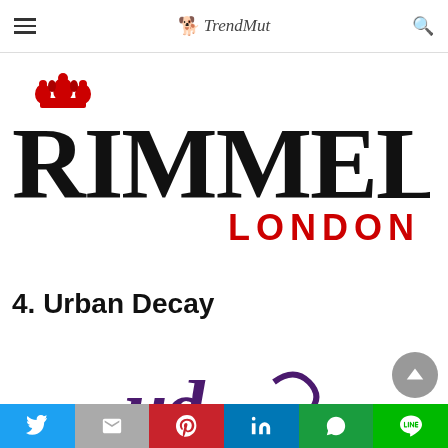TrendMut
[Figure (logo): Rimmel London logo: red crown above large black serif RIMMEL text, with red LONDON text to the right below]
4. Urban Decay
[Figure (logo): Partial Urban Decay logo in dark purple gothic lettering, partially cropped at bottom of page]
Social share bar: Twitter, Gmail, Pinterest, LinkedIn, WhatsApp, LINE